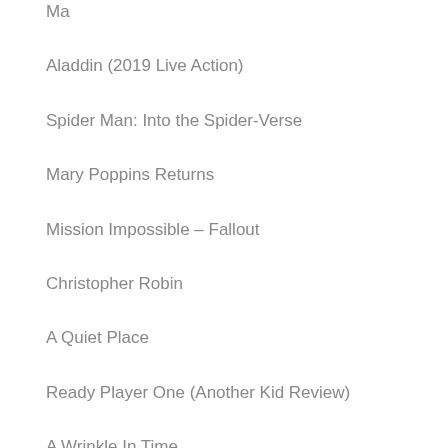Ma
Aladdin (2019 Live Action)
Spider Man: Into the Spider-Verse
Mary Poppins Returns
Mission Impossible – Fallout
Christopher Robin
A Quiet Place
Ready Player One (Another Kid Review)
A Wrinkle In Time
The 15:17 to Paris
Darkest Hour